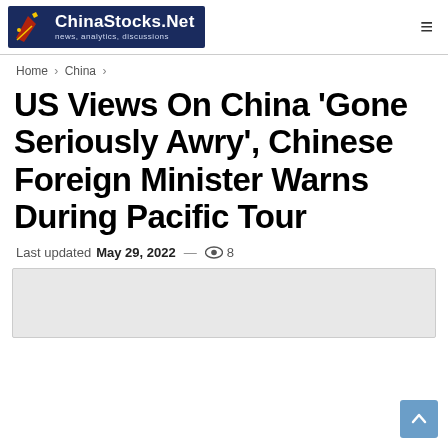ChinaStocks.Net — news, analytics, discussions
Home > China >
US Views On China 'Gone Seriously Awry', Chinese Foreign Minister Warns During Pacific Tour
Last updated May 29, 2022 — 👁 8
[Figure (photo): Article image placeholder (light gray rectangle)]